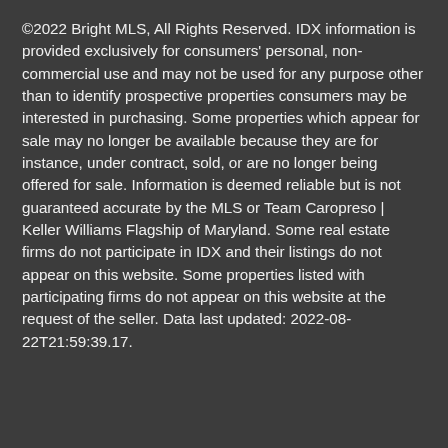©2022 Bright MLS, All Rights Reserved. IDX information is provided exclusively for consumers' personal, non-commercial use and may not be used for any purpose other than to identify prospective properties consumers may be interested in purchasing. Some properties which appear for sale may no longer be available because they are for instance, under contract, sold, or are no longer being offered for sale. Information is deemed reliable but is not guaranteed accurate by the MLS or Team Caropreso | Keller Williams Flagship of Maryland. Some real estate firms do not participate in IDX and their listings do not appear on this website. Some properties listed with participating firms do not appear on this website at the request of the seller. Data last updated: 2022-08-22T21:59:39.17.
BoomTown! © 2022
Terms of Use | Privacy Policy | Accessibility | DMCA
eListing Site.com
Take a Tour
Ask A Question